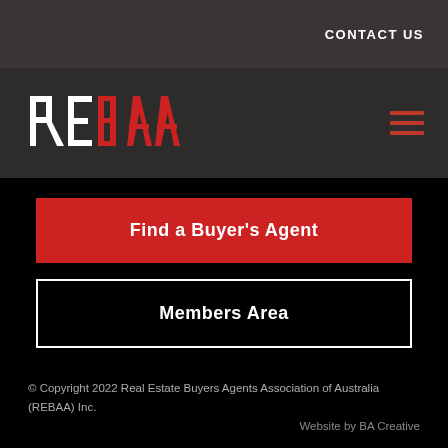CONTACT US
[Figure (logo): REBAA logo in white and red stylized letters on dark background]
Find a Buyer's Agent
Members Area
© Copyright 2022 Real Estate Buyers Agents Association of Australia (REBAA) Inc.
Website by BA Creative